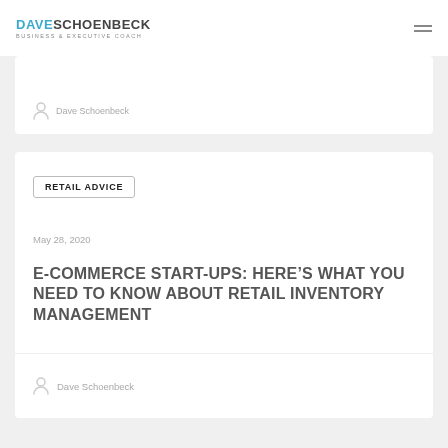DAVE SCHOENBECK BUSINESS & EXECUTIVE COACH
Dave Schoenbeck
RETAIL ADVICE
May 28, 2020
E-COMMERCE START-UPS: HERE'S WHAT YOU NEED TO KNOW ABOUT RETAIL INVENTORY MANAGEMENT
Dave Schoenbeck